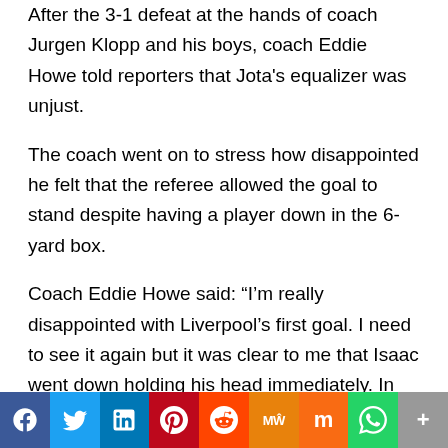After the 3-1 defeat at the hands of coach Jurgen Klopp and his boys, coach Eddie Howe told reporters that Jota's equalizer was unjust.
The coach went on to stress how disappointed he felt that the referee allowed the goal to stand despite having a player down in the 6-yard box.
Coach Eddie Howe said: “I’m really disappointed with Liverpool’s first goal. I need to see it again but it was clear to me that Isaac went down holding his head immediately. In my opinion, the game should have been stopped.
“I couldn’t believe what I was seeing… There is a lot of talk at the moment about head injuries and I felt that was a wrong choice.